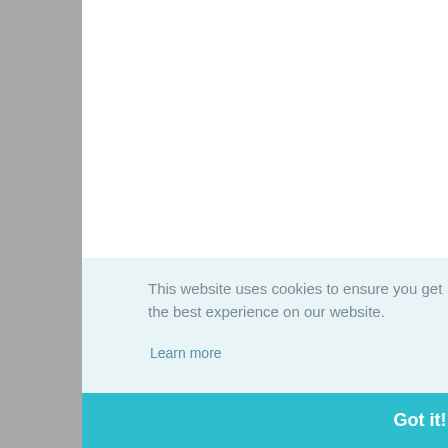[Figure (screenshot): Partial screenshot of a website page showing a cookie consent banner overlay. Left grey sidebar visible, white main content area, right column with partial text reading 'So for the They're n started wi' and two partial images. Cookie banner with light blue background contains text and a teal 'Got it!' button.]
So for the They're n started wi
This website uses cookies to ensure you get the best experience on our website.
Learn more
Got it!